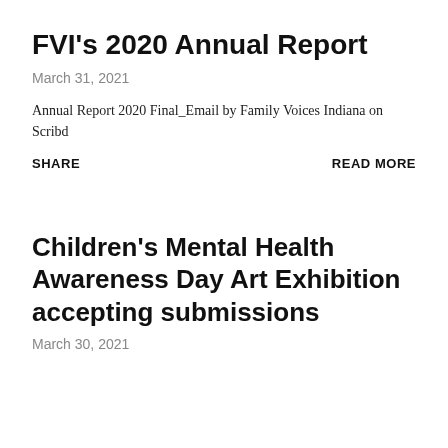FVI's 2020 Annual Report
March 31, 2021
Annual Report 2020 Final_Email by Family Voices Indiana on Scribd
SHARE    READ MORE
Children's Mental Health Awareness Day Art Exhibition accepting submissions
March 30, 2021